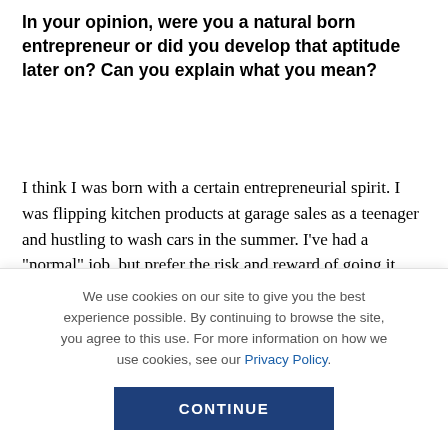In your opinion, were you a natural born entrepreneur or did you develop that aptitude later on? Can you explain what you mean?
I think I was born with a certain entrepreneurial spirit. I was flipping kitchen products at garage sales as a teenager and hustling to wash cars in the summer. I’ve had a “normal” job, but prefer the risk and reward of going it alone on my own merits.
Was there somebody in your life who inspired or
We use cookies on our site to give you the best experience possible. By continuing to browse the site, you agree to this use. For more information on how we use cookies, see our Privacy Policy.